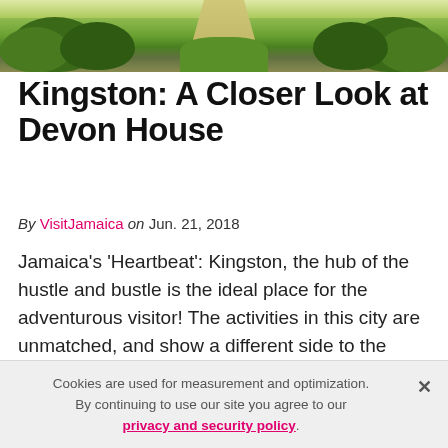[Figure (photo): Outdoor photo showing a garden path lined with green trees and grass, viewed from above, with sunlight filtering through.]
Kingston: A Closer Look at Devon House
By VisitJamaica on Jun. 21, 2018
Jamaica's 'Heartbeat': Kingston, the hub of the hustle and bustle is the ideal place for the adventurous visitor! The activities in this city are unmatched, and show a different side to the island, quite unlike those found in Jamaica's tourism capital Montego Bay.. Of all the things to do in...
Cookies are used for measurement and optimization. By continuing to use our site you agree to our privacy and security policy.